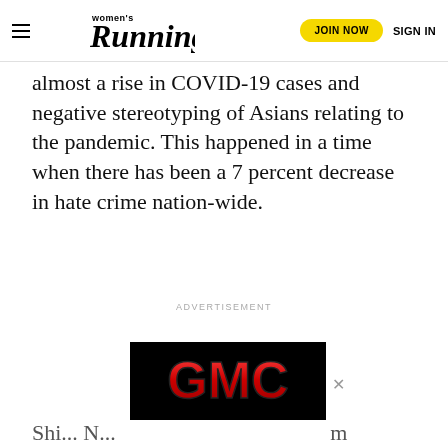Women's Running | JOIN NOW | SIGN IN
almost a rise in COVID-19 cases and negative stereotyping of Asians relating to the pandemic. This happened in a time when there has been a 7 percent decrease in hate crime nation-wide.
ADVERTISEMENT
[Figure (logo): GMC logo on black background banner advertisement]
Shi... N...                                           m